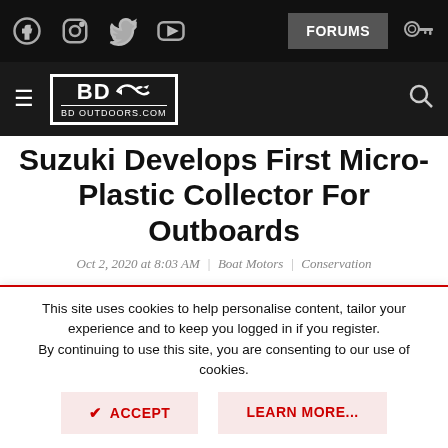BD Outdoors - BDOutdoors.com navigation header with social icons (Facebook, Instagram, Twitter, YouTube), FORUMS button, key icon, hamburger menu, BD Outdoors logo, search icon
Suzuki Develops First Micro-Plastic Collector For Outboards
Oct 2, 2020 at 8:03 AM | Boat Motors | Conservation
uzuki has developed the world's first micro-
This site uses cookies to help personalise content, tailor your experience and to keep you logged in if you register.
By continuing to use this site, you are consenting to our use of cookies.